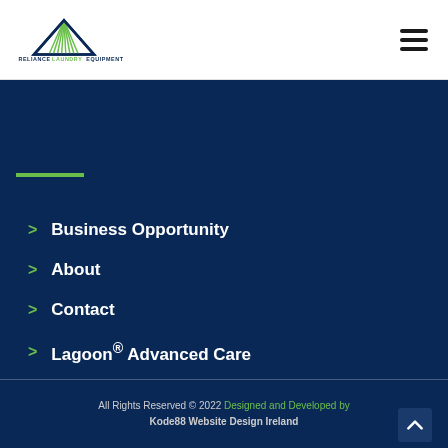[Figure (logo): Reliance Laundry Equipment logo with triangle/sunburst icon in navy and green, company name below in dark blue with LAUNDRY in green]
Business Opportunity
About
Contact
Lagoon® Advanced Care
All Rights Reserved © 2022 Designed and Developed by Kode88 Website Design Ireland